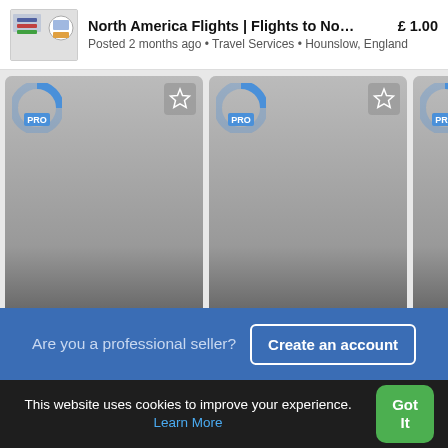North America Flights | Flights to North... £ 1.00
Posted 2 months ago • Travel Services • Hounslow, England
[Figure (screenshot): Three listing cards each showing 'Check with seller' with PRO badge, star icon, camera icon with 1x count, location and service name. Cards: London Bridge, England - Chauffeur Service; Dagenham, England - Corporate Tours; Reardnogy, Irela... - LTC tour pac...]
London Bridge, England
Chauffeur Service
Dagenham, England
Corporate Tours
Reardnogy, Irela...
LTC tour pac...
Are you a professional seller?
Create an account
This website uses cookies to improve your experience. Learn More
Got It